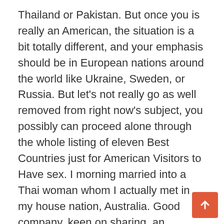Thailand or Pakistan. But once you is really an American, the situation is a bit totally different, and your emphasis should be in European nations around the world like Ukraine, Sweden, or Russia. But let’s not really go as well removed from right now’s subject, you possibly can proceed alone through the whole listing of eleven Best Countries just for American Visitors to Have sex. I morning married into a Thai woman whom I actually met in my house nation, Australia. Good company, keen on sharing, an outstanding cook dinner, trustworthy, trustworthy mexican brides and o, sexy also.
I asked her how she noticed about age difference myself being forty eight. She stated she experienced no issues as a result of your lady can be happy doing details that by-by her thrilled and other